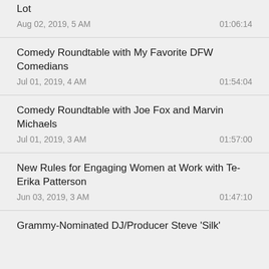Lot
Aug 02, 2019, 5 AM  01:06:14
Comedy Roundtable with My Favorite DFW Comedians
Jul 01, 2019, 4 AM  01:54:04
Comedy Roundtable with Joe Fox and Marvin Michaels
Jul 01, 2019, 3 AM  01:57:00
New Rules for Engaging Women at Work with Te-Erika Patterson
Jun 03, 2019, 3 AM  01:47:10
Grammy-Nominated DJ/Producer Steve 'Silk'